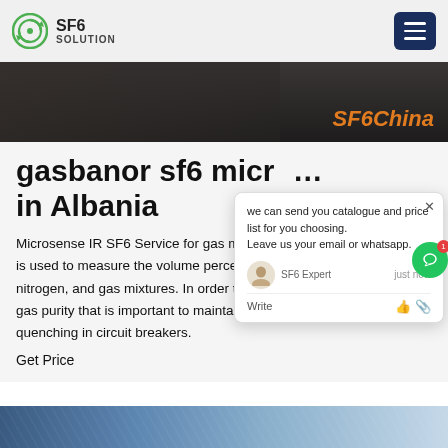SF6 SOLUTION
[Figure (screenshot): Dark hero image with 'SF6China' text in orange italic on the right side]
gasbanor sf6 micro in Albania
Microsense IR SF6 Service for gas measurementSF6 gas measuring is used to measure the volume percentage gas concentration in air, nitrogen, and gas mixtures. In order to do so, these devices measure gas purity that is important to maintain the dielectric property for arc quenching in circuit breakers.
Get Price
[Figure (photo): Bottom image strip showing industrial/electrical equipment]